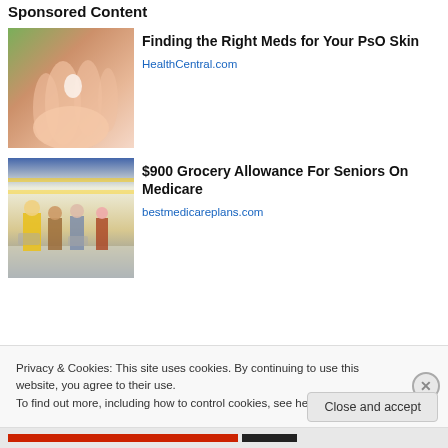Sponsored Content
[Figure (photo): Hand with cream or medication being applied to palm, close-up photo]
Finding the Right Meds for Your PsO Skin
HealthCentral.com
[Figure (photo): People shopping in a supermarket/grocery store aisle with carts]
$900 Grocery Allowance For Seniors On Medicare
bestmedicareplans.com
Privacy & Cookies: This site uses cookies. By continuing to use this website, you agree to their use.
To find out more, including how to control cookies, see here: Cookie Policy
Close and accept